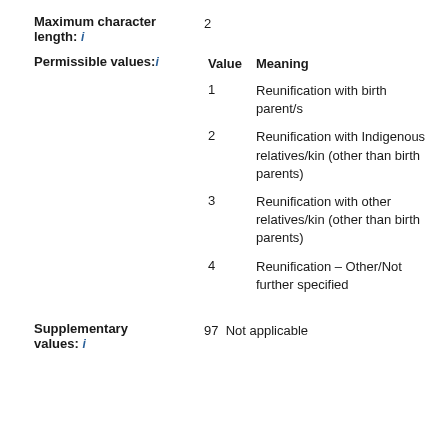Maximum character length: i
2
Permissible values: i
| Value | Meaning |
| --- | --- |
| 1 | Reunification with birth parent/s |
| 2 | Reunification with Indigenous relatives/kin (other than birth parents) |
| 3 | Reunification with other relatives/kin (other than birth parents) |
| 4 | Reunification – Other/Not further specified |
Supplementary values: i
97  Not applicable